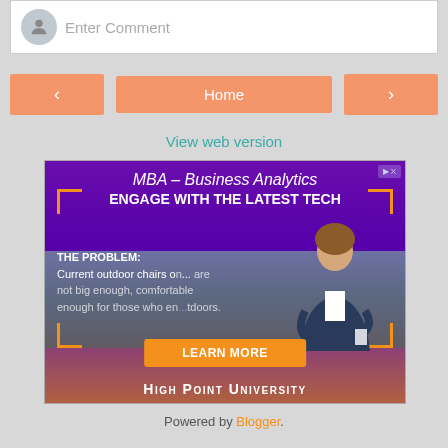[Figure (screenshot): Comment input box with avatar placeholder and 'Enter Comment' placeholder text]
[Figure (screenshot): Navigation bar with left arrow button, Home button, and right arrow button in salmon/orange color]
View web version
[Figure (infographic): High Point University MBA Business Analytics advertisement. Text: 'MBA – Business Analytics', 'ENGAGE WITH THE LATEST TECH', 'THE PROBLEM: Current outdoor chairs on... are not big enough, comfortable enough for those who en...tdoors.', 'LEARN MORE', 'HIGH POINT UNIVERSITY'. Shows a person presenting in front of a landscape background with orange bracket decorations.]
Powered by Blogger.